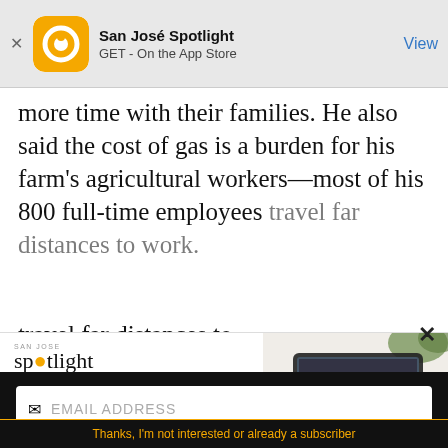[Figure (screenshot): San José Spotlight app banner with orange circular logo, app name, GET - On the App Store text, and blue View button]
more time with their families. He also said the cost of gas is a burden for his farm's agricultural workers—most of his 800 full-time employees travel far distances to work.
[Figure (advertisement): San Jose Spotlight advertisement with logo, tagline 'Where San Jose locals start the day.' and tablet image, URL sanjosespotlight.com]
[Figure (screenshot): Newsletter signup with EMAIL ADDRESS input field and SUBSCRIBE button on black background]
Thanks, I'm not interested or already a subscriber